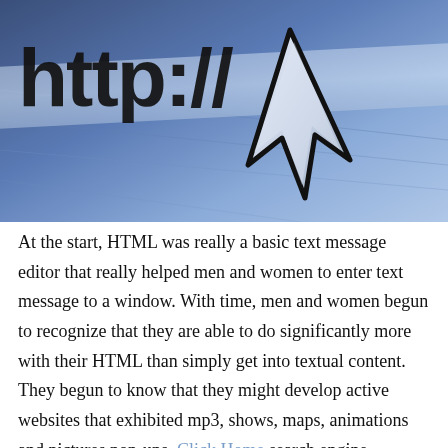[Figure (photo): Close-up photo of 'http://' text on a blue digital surface with a large white mouse cursor arrow pointing at it, suggesting internet/web browsing concept.]
At the start, HTML was really a basic text message editor that really helped men and women to enter text message to a window. With time, men and women begun to recognize that they are able to do significantly more with their HTML than simply get into textual content. They begun to know that they might develop active websites that exhibited mp3, shows, maps, animations and pictures pop-ups, Click Home search engine rankings, place-unders, plus much more. That is